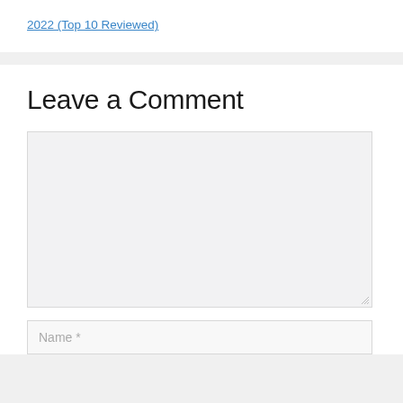2022 (Top 10 Reviewed)
Leave a Comment
Name *